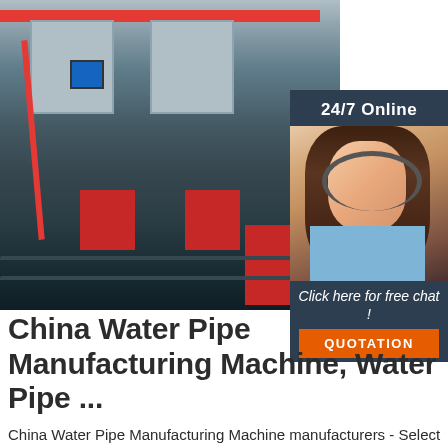[Figure (photo): Factory interior showing industrial water pipe manufacturing machinery with red and gray components, crane arms, and rails on the floor. A 24/7 online chat panel with an agent photo is overlaid on the right side, with 'Click here for free chat!' text and an orange QUOTATION button.]
China Water Pipe Manufacturing Machine, Water Pipe ...
China Water Pipe Manufacturing Machine manufacturers - Select 2021 high quality Water Pipe Manufacturing Machine products in best